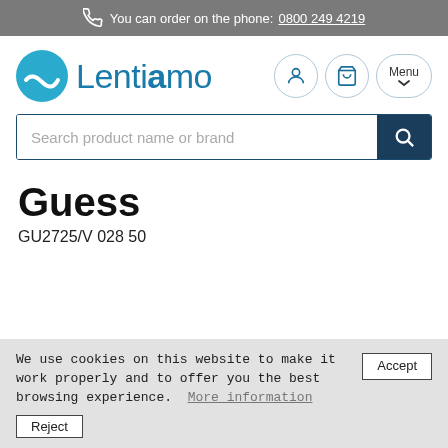You can order on the phone: 0800 249 4219
[Figure (logo): Lentiamo logo with teal circular icon and blue text]
[Figure (screenshot): Search bar with placeholder 'Search product name or brand' and dark blue search button]
Guess
GU2725/V 028 50
We use cookies on this website to make it work properly and to offer you the best browsing experience. More information Accept Reject